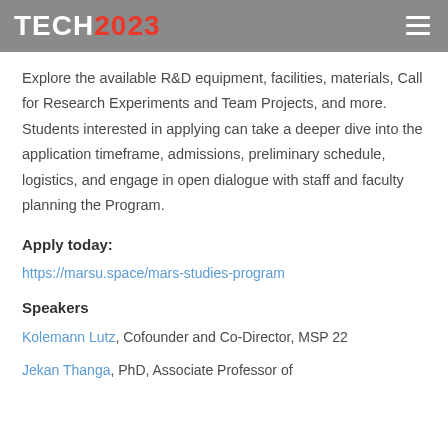TECH2023
Explore the available R&D equipment, facilities, materials, Call for Research Experiments and Team Projects, and more. Students interested in applying can take a deeper dive into the application timeframe, admissions, preliminary schedule, logistics, and engage in open dialogue with staff and faculty planning the Program.
Apply today:
https://marsu.space/mars-studies-program
Speakers
Kolemann Lutz, Cofounder and Co-Director, MSP 22
Jekan Thanga, PhD, Associate Professor of